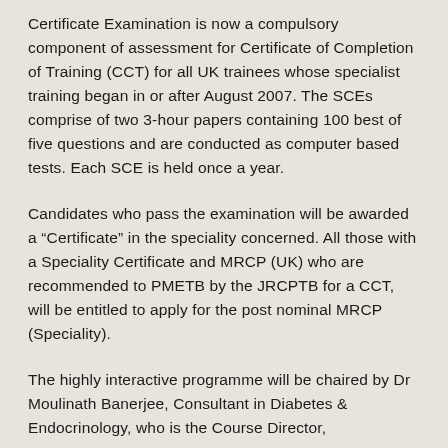Certificate Examination is now a compulsory component of assessment for Certificate of Completion of Training (CCT) for all UK trainees whose specialist training began in or after August 2007. The SCEs comprise of two 3-hour papers containing 100 best of five questions and are conducted as computer based tests. Each SCE is held once a year.
Candidates who pass the examination will be awarded a “Certificate” in the speciality concerned. All those with a Speciality Certificate and MRCP (UK) who are recommended to PMETB by the JRCPTB for a CCT, will be entitled to apply for the post nominal MRCP (Speciality).
The highly interactive programme will be chaired by Dr Moulinath Banerjee, Consultant in Diabetes & Endocrinology, who is the Course Director,